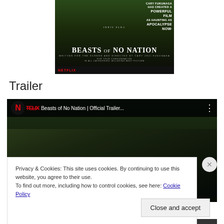[Figure (photo): Movie poster for Beasts of No Nation featuring Idris Elba. Text reads: CARY FUKUNAGA HAS CREATED A POWERFUL FILM AS HAUNTING AS APOCALYPSE NOW, IDRIS ELBA, BEASTS OF NO NATION, written for the screen and directed by Cary Joji Fukunaga, FOR YOUR CONSIDERATION IN ALL CATEGORIES INCLUDING BEST PICTURE, Netflix logo at bottom.]
Trailer
[Figure (screenshot): YouTube video embed showing Netflix Beasts of No Nation Official Trailer with top bar showing Netflix N logo, TELIX branding, and title Beasts of No Nation | Official Trailer... with three-dot menu icon. Background shows a dark close-up face image.]
Privacy & Cookies: This site uses cookies. By continuing to use this website, you agree to their use.
To find out more, including how to control cookies, see here: Cookie Policy
Close and accept